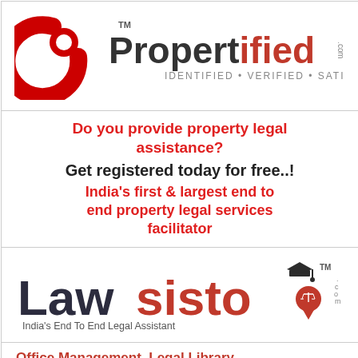[Figure (logo): Propertified.com logo with red spiral icon and text 'Propertified.com - IDENTIFIED · VERIFIED · SATISFIED']
Do you provide property legal assistance?
Get registered today for free..!
India's first & largest end to end property legal services facilitator
[Figure (logo): Lawsisto.com logo - India's End To End Legal Assistant, with graduation cap and scales icon]
Office Management, Legal Library, Legal Drafts & Conveyancing, Lega...